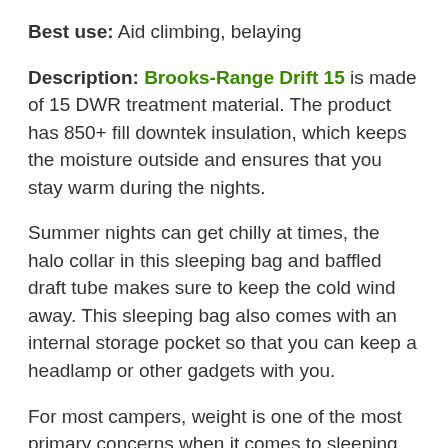Best use: Aid climbing, belaying
Description: Brooks-Range Drift 15 is made of 15 DWR treatment material. The product has 850+ fill downtek insulation, which keeps the moisture outside and ensures that you stay warm during the nights.
Summer nights can get chilly at times, the halo collar in this sleeping bag and baffled draft tube makes sure to keep the cold wind away. This sleeping bag also comes with an internal storage pocket so that you can keep a headlamp or other gadgets with you.
For most campers, weight is one of the most primary concerns when it comes to sleeping bag selection and the Drift 30 does very well. Although